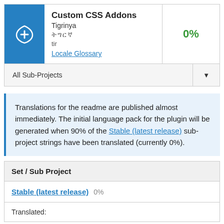Custom CSS Addons
Tigrinya
ትግርኛ
tir
Locale Glossary
0%
All Sub-Projects
Translations for the readme are published almost immediately. The initial language pack for the plugin will be generated when 90% of the Stable (latest release) sub-project strings have been translated (currently 0%).
Set / Sub Project
Stable (latest release)  0%
Translated: